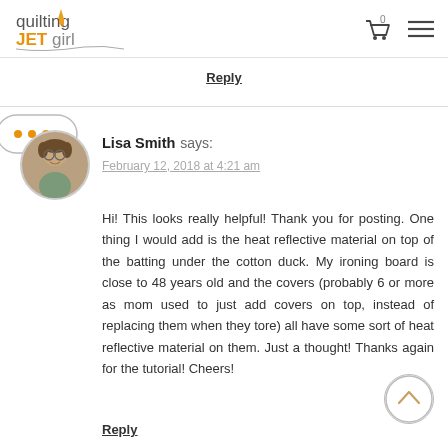quilting JETgirl
Reply
Lisa Smith says:
February 12, 2018 at 4:21 am

Hi! This looks really helpful! Thank you for posting. One thing I would add is the heat reflective material on top of the batting under the cotton duck. My ironing board is close to 48 years old and the covers (probably 6 or more as mom used to just add covers on top, instead of replacing them when they tore) all have some sort of heat reflective material on them. Just a thought! Thanks again for the tutorial! Cheers!
Reply